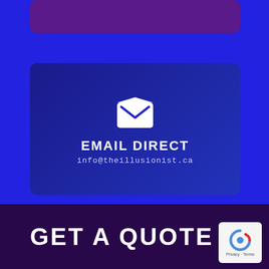[Figure (infographic): Partial purple rounded rectangle banner at top (cropped)]
[Figure (infographic): Dark blue card with white envelope icon, bold text EMAIL DIRECT and email address info@theillusionist.ca]
SOCIAL
[Figure (infographic): Three social media icons in rounded squares: Instagram (black), Facebook (blue-grey), YouTube (red)]
[Figure (infographic): Dark purple banner at bottom with bold white text GET A QUOTE and reCAPTCHA badge in bottom right]